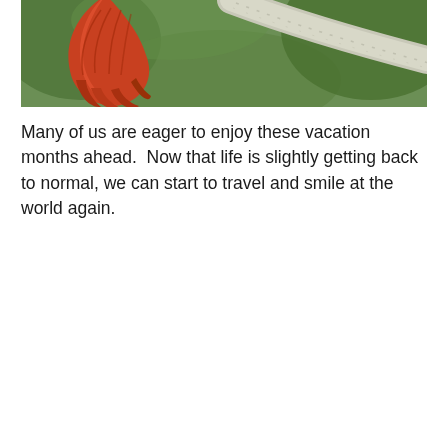[Figure (photo): Close-up nature photo showing an orange/red bird or flower hanging from a pale grey branch, with green bokeh background.]
Many of us are eager to enjoy these vacation months ahead.  Now that life is slightly getting back to normal, we can start to travel and smile at the world again.